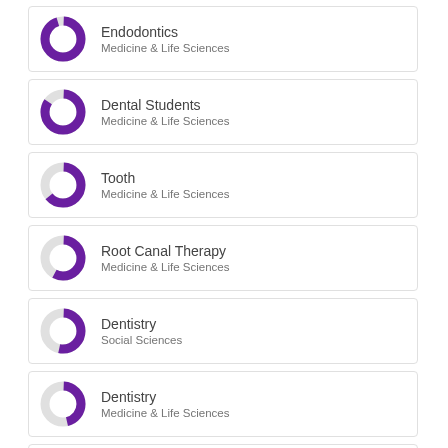[Figure (donut-chart): Donut chart mostly filled purple, small gap, for Endodontics]
Endodontics
Medicine & Life Sciences
[Figure (donut-chart): Donut chart mostly purple with a visible light segment, for Dental Students]
Dental Students
Medicine & Life Sciences
[Figure (donut-chart): Donut chart about half purple half light, for Tooth]
Tooth
Medicine & Life Sciences
[Figure (donut-chart): Donut chart about half purple half light, for Root Canal Therapy]
Root Canal Therapy
Medicine & Life Sciences
[Figure (donut-chart): Donut chart about half purple half light, for Dentistry Social Sciences]
Dentistry
Social Sciences
[Figure (donut-chart): Donut chart about 40% purple, for Dentistry Medicine]
Dentistry
Medicine & Life Sciences
[Figure (donut-chart): Donut chart partially filled purple, for Dental Schools]
Dental Schools